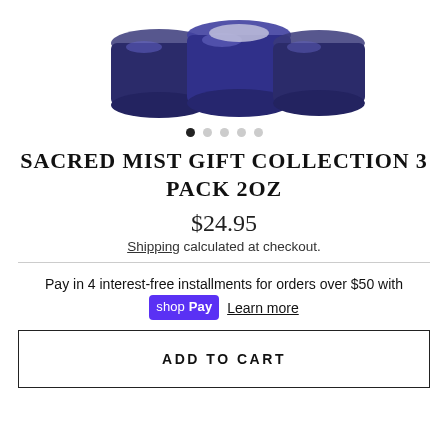[Figure (photo): Photo of three dark blue/purple glass jar containers with metallic lids, shown from above at an angle against a white background.]
● ○ ○ ○ ○
SACRED MIST GIFT COLLECTION 3 PACK 2OZ
$24.95
Shipping calculated at checkout.
Pay in 4 interest-free installments for orders over $50 with shop Pay  Learn more
ADD TO CART